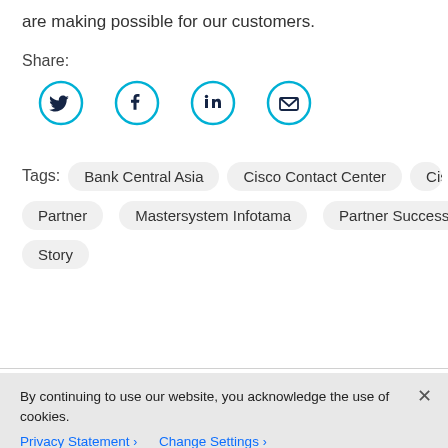are making possible for our customers.
Share:
[Figure (illustration): Four social media sharing icons in cyan circles: Twitter bird, Facebook f, LinkedIn in, and Email envelope]
Tags:  Bank Central Asia  Cisco Contact Center  Cisco Partner  Mastersystem Infotama  Partner Success  Story
By continuing to use our website, you acknowledge the use of cookies.
Privacy Statement >   Change Settings >